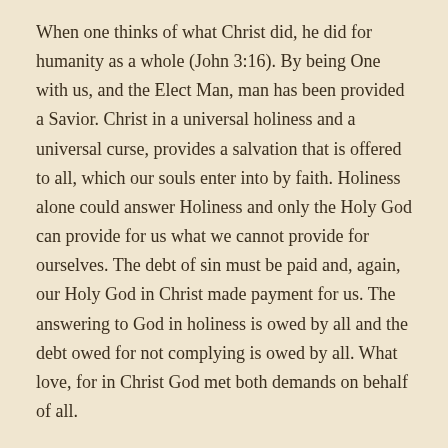When one thinks of what Christ did, he did for humanity as a whole (John 3:16). By being One with us, and the Elect Man, man has been provided a Savior. Christ in a universal holiness and a universal curse, provides a salvation that is offered to all, which our souls enter into by faith. Holiness alone could answer Holiness and only the Holy God can provide for us what we cannot provide for ourselves. The debt of sin must be paid and, again, our Holy God in Christ made payment for us. The answering to God in holiness is owed by all and the debt owed for not complying is owed by all. What love, for in Christ God met both demands on behalf of all.
P.T. Forsyth writes, "The need for satisfaction for God's wounded holiness can only be met by a personal holiness upon the scale of the human race, upon the universal scale of the sinful race. Anything less would be insufficient. What